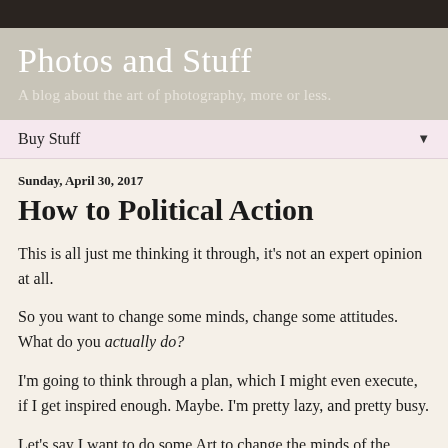Photos and Stuff
A blog about the art of photography, more or less.
Buy Stuff
Sunday, April 30, 2017
How to Political Action
This is all just me thinking it through, it's not an expert opinion at all.
So you want to change some minds, change some attitudes. What do you actually do?
I'm going to think through a plan, which I might even execute, if I get inspired enough. Maybe. I'm pretty lazy, and pretty busy.
Let's say I want to do some Art to change the minds of the people